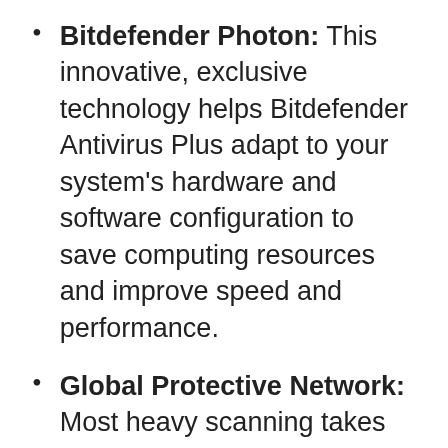Bitdefender Photon: This innovative, exclusive technology helps Bitdefender Antivirus Plus adapt to your system's hardware and software configuration to save computing resources and improve speed and performance.
Global Protective Network: Most heavy scanning takes place in the cloud, so there is virtually zero impact on your local resources. This means your system's speed and